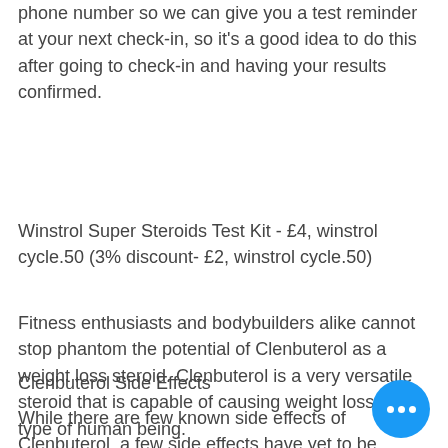phone number so we can give you a test reminder at your next check-in, so it's a good idea to do this after going to check-in and having your results confirmed.
Winstrol Super Steroids Test Kit - £4, winstrol cycle.50 (3% discount- £2, winstrol cycle.50)
Fitness enthusiasts and bodybuilders alike cannot stop phantom the potential of Clenbuterol as a weight loss steroid. Clenbuterol is a very versatile steroid that is capable of causing weight loss in any type of human being.
Clenbuterol Side Effects
While there are few known side effects of Clenbuterol, a few side effects have yet to be